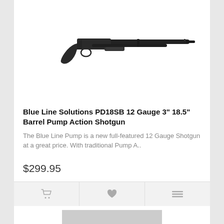[Figure (photo): Black pump action shotgun (Blue Line Solutions PD18SB) photographed against white background, side profile view]
Blue Line Solutions PD18SB 12 Gauge 3" 18.5" Barrel Pump Action Shotgun
The Blue Line Pump is a new full-featured 12 Gauge Shotgun at a great price. With traditional Pump A..
$299.95
[Figure (photo): Partial view of second product card at bottom of page, product image partially visible]